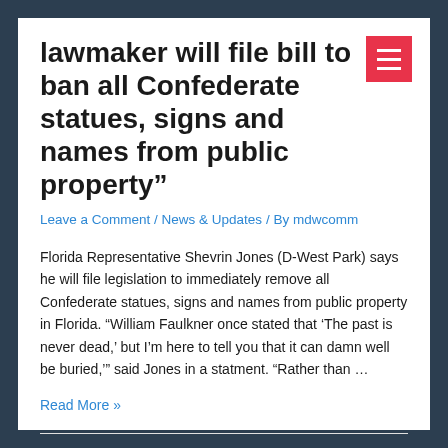lawmaker will file bill to ban all Confederate statues, signs and names from public property”
Leave a Comment / News & Updates / By mdwcomm
Florida Representative Shevrin Jones (D-West Park) says he will file legislation to immediately remove all Confederate statues, signs and names from public property in Florida. “William Faulkner once stated that ‘The past is never dead,’ but I’m here to tell you that it can damn well be buried,’” said Jones in a statment. “Rather than …
Read More »